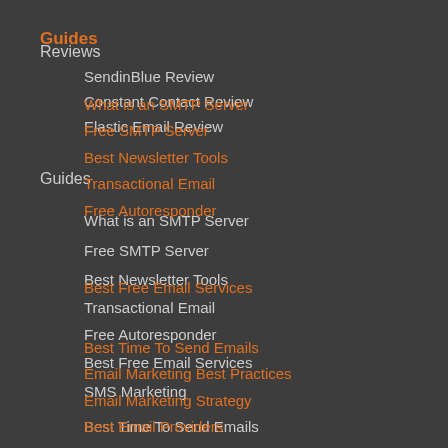Guides
Reviews
What is an SMTP Server
SendinBlue Review
Free SMTP Server
Constant Contact Review
Best Newsletter Tools
Elastic Email Review
Transactional Email
Free Autoresponder
Guides
What is an SMTP Server
Free SMTP Server
Best Newsletter Tools
Best Time To Send Emails
Transactional Email
Email Marketing Best Practices
Free Autoresponder
Email Marketing Strategy
Best Free Email Services
SMS Marketing
Best Free Email Services
Best Time To Send Emails
Best Email Providers
Email Marketing Best Practices
Email Marketing Strategy